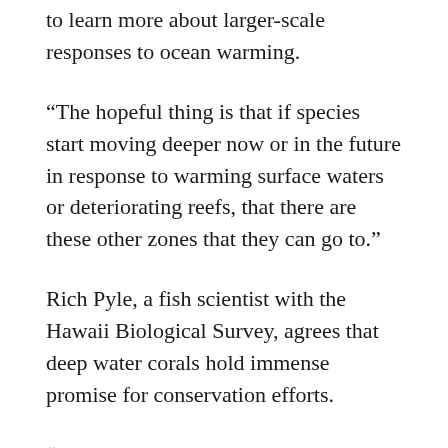to learn more about larger-scale responses to ocean warming.
“The hopeful thing is that if species start moving deeper now or in the future in response to warming surface waters or deteriorating reefs, that there are these other zones that they can go to.”
Rich Pyle, a fish scientist with the Hawaii Biological Survey, agrees that deep water corals hold immense promise for conservation efforts.
“The more we look, the more obvious it is that there are no natural ecology-wide boundaries” that prevent shallow fish from descending to greater depths, he says.
But it’s not as if surface fish can just pack up and move to deeper waters overnight, either. Pyle says that there are certain species, such as some rays, that live at both